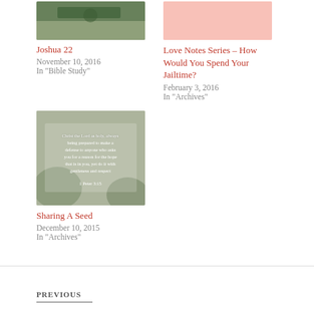[Figure (photo): Outdoor/nature thumbnail image for Joshua 22 post]
Joshua 22
November 10, 2016
In "Bible Study"
[Figure (photo): Pink/salmon color thumbnail image for Love Notes Series post]
Love Notes Series – How Would You Spend Your Jailtime?
February 3, 2016
In "Archives"
[Figure (photo): Scripture verse image: 'Christ the Lord as holy, always being prepared to make a defense to anyone who asks you for a reason for the hope that is in you, yet do it with gentleness and respect. 1 Peter 3:15']
Sharing A Seed
December 10, 2015
In "Archives"
PREVIOUS